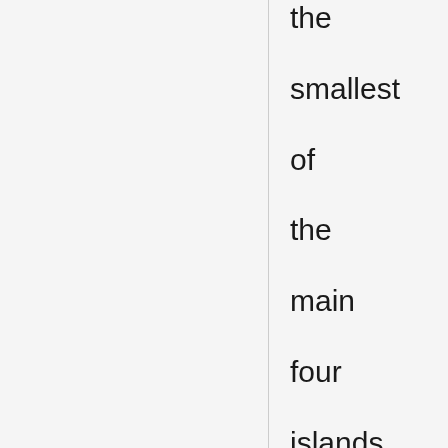the smallest of the main four islands, known as a destination for Buddhist pilgrims. The main